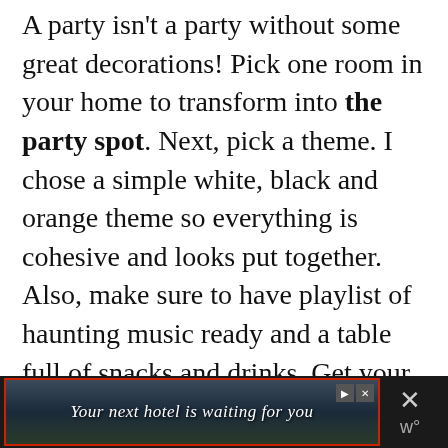A party isn't a party without some great decorations! Pick one room in your home to transform into the party spot. Next, pick a theme. I chose a simple white, black and orange theme so everything is cohesive and looks put together. Also, make sure to have playlist of haunting music ready and a table full of snacks and drinks. Get your guests pumped up to wear their best costumes to really set the tone of the party! All the great costumes add to the decor. Think about having a costume contest with a grand prize to inspire everyone to be creative and bring
[Figure (other): Advertisement banner at bottom of page with dark background showing a hotel/building image and text 'Your next hotel is waiting for you' with red border, close button (X) and navigation controls.]